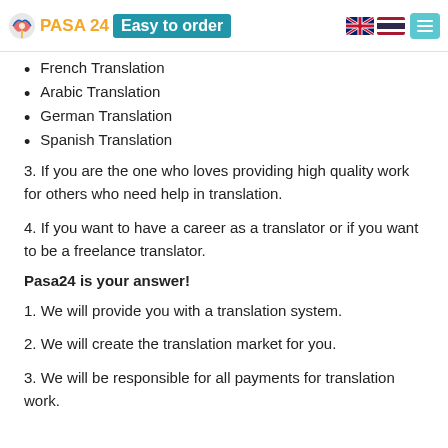PASA 24 Easy to order
Vietnamese Translation
Indian (Hindi) Translation
Malaysian Translation (Malay)
French Translation
Arabic Translation
German Translation
Spanish Translation
3. If you are the one who loves providing high quality work for others who need help in translation.
4. If you want to have a career as a translator or if you want to be a freelance translator.
Pasa24 is your answer!
1. We will provide you with a translation system.
2. We will create the translation market for you.
3. We will be responsible for all payments for translation work.